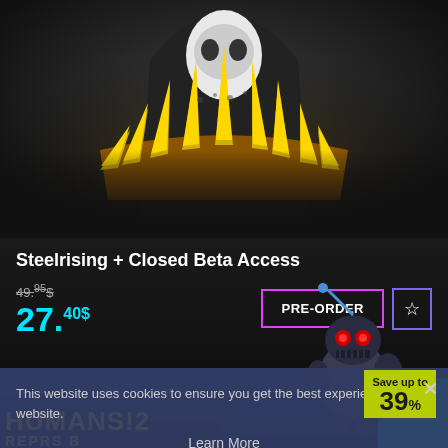[Figure (screenshot): Top portion of a game store page showing Steelrising game art with a character wearing a golden spiked crown/collar on a dark background]
Steelrising + Closed Beta Access
49.95$ (strikethrough original price)
27.40$
PRE-ORDER
[Figure (screenshot): Cookie consent overlay on a game store page showing robot character from Humans 2! game in background]
Save up to 39%
This website uses cookies to ensure you get the best experience on our website.
Learn More
Decline
Allow All
HUMANS!2 REPRS B...